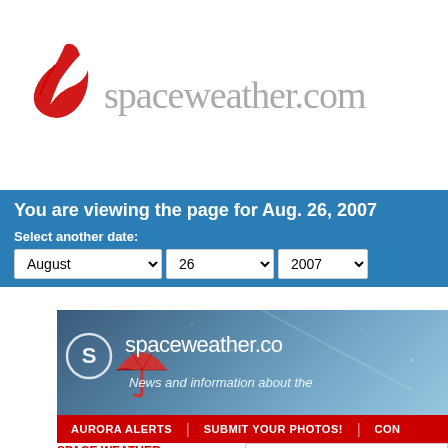[Figure (logo): spaceweather.com logo with red stylized bird/kite figure and gray text 'spaceweather.com']
You are viewing the page for Aug. 26, 2007
Select another date: August 26 2007
[Figure (screenshot): spaceweather.com website banner with logo, umbrella graphic, and tagline 'News and information about the']
AURORA ALERTS | SUBMIT YOUR PHOTOS! | CON
SPACE WEATHER
Current conditions
Solar wind
speed: 470.3 km/sec
density: 11.2 protons/cm³
explanation | more data
Updated: Today at 2241 UT
What's up i
Where's Saturn? Is  ISS? What's the na the answers from m astronomy helper fr